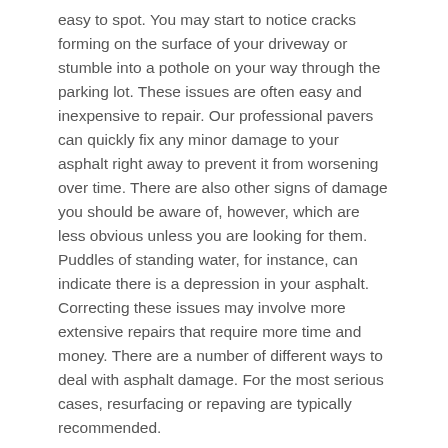easy to spot. You may start to notice cracks forming on the surface of your driveway or stumble into a pothole on your way through the parking lot. These issues are often easy and inexpensive to repair. Our professional pavers can quickly fix any minor damage to your asphalt right away to prevent it from worsening over time. There are also other signs of damage you should be aware of, however, which are less obvious unless you are looking for them. Puddles of standing water, for instance, can indicate there is a depression in your asphalt. Correcting these issues may involve more extensive repairs that require more time and money. There are a number of different ways to deal with asphalt damage. For the most serious cases, resurfacing or repaving are typically recommended.
Resurfacing
As with many materials, aging can affect the strength